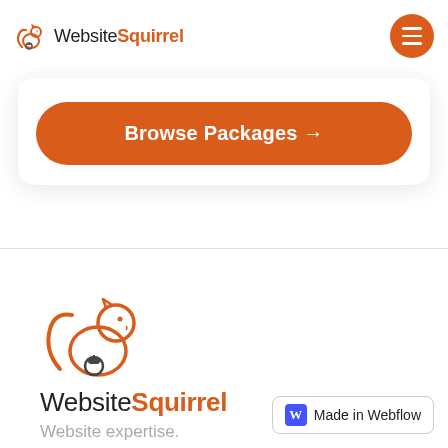[Figure (logo): WebsiteSquirrel logo with squirrel icon and text: Website in dark, Squirrel in orange]
[Figure (other): Orange circular hamburger menu button with three white horizontal bars]
[Figure (other): Orange rounded 'Browse Packages →' button inside a white card with shadow]
[Figure (logo): Large WebsiteSquirrel squirrel icon in orange outline style]
WebsiteSquirrel
Website expertise.
[Figure (other): Made in Webflow badge with blue W icon and text 'Made in Webflow']